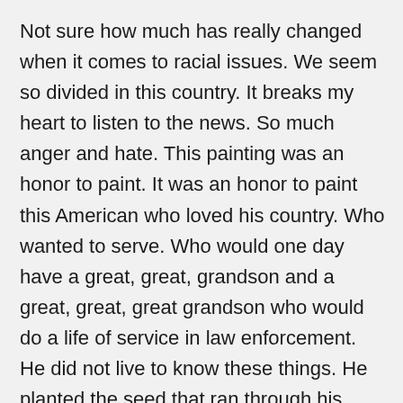Not sure how much has really changed when it comes to racial issues. We seem so divided in this country. It breaks my heart to listen to the news. So much anger and hate. This painting was an honor to paint. It was an honor to paint this American who loved his country. Who wanted to serve. Who would one day have a great, great, grandson and a great, great, great grandson who would do a life of service in law enforcement. He did not live to know these things. He planted the seed that ran through his blood that flowed to the next generations. It is important to do something